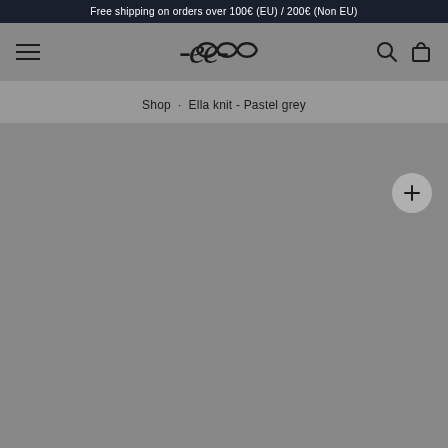Free shipping on orders over 100€ (EU) / 200€ (Non EU)
[Figure (logo): Navigation bar with hamburger menu icon on the left, brand logo in the center (stylized knot/rope design), search icon and cart icon on the right]
Shop · Ella knit - Pastel grey
[Figure (photo): Product image area showing grey background with a zoom/plus button in the upper right corner]